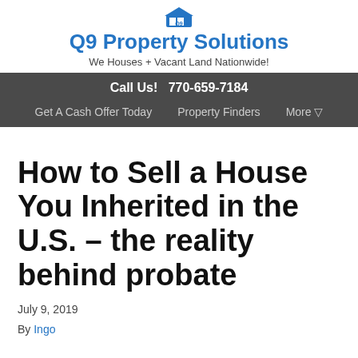Q9 Property Solutions — We Houses + Vacant Land Nationwide!
Call Us! 770-659-7184
Get A Cash Offer Today   Property Finders   More ▾
How to Sell a House You Inherited in the U.S. – the reality behind probate
July 9, 2019
By Ingo